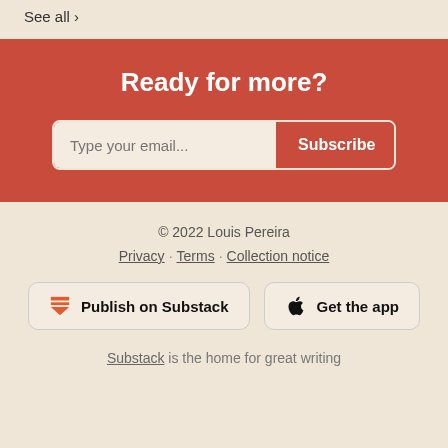See all ›
Ready for more?
Type your email... Subscribe
© 2022 Louis Pereira
Privacy · Terms · Collection notice
Publish on Substack
Get the app
Substack is the home for great writing